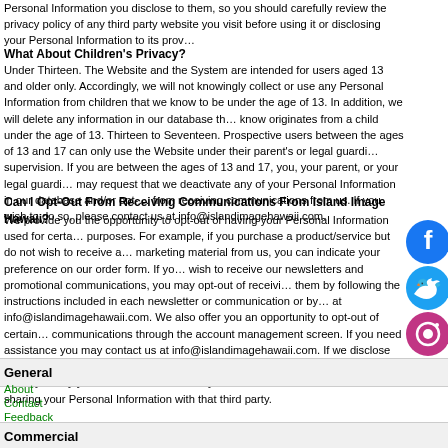Personal Information you disclose to them, so you should carefully review the privacy policy of any third party website you visit before using it or disclosing your Personal Information to its providers.
What About Children's Privacy?
Under Thirteen. The Website and the System are intended for users aged 13 and older only. Accordingly, we will not knowingly collect or use any Personal Information from children that we know to be under the age of 13. In addition, we will delete any information in our database that we know originates from a child under the age of 13. Thirteen to Seventeen. Prospective users between the ages of 13 and 17 can only use the Website under their parent's or legal guardian's supervision. If you are between the ages of 13 and 17, you, your parent, or your legal guardian may request that we deactivate any of your Personal Information in our database and/or opt-out from receiving communications from us. If you wish to do so, please contact us at info@islandimagehawaii.com.
Can I Opt-Out From Receiving Communications From Island Image Hawaii?
We provide you the opportunity to opt-out of having your Personal Information used for certain purposes. For example, if you purchase a product/service but do not wish to receive any direct marketing material from us, you can indicate your preference on our order form. If you do not wish to receive our newsletters and promotional communications, you may opt-out of receiving them by following the instructions included in each newsletter or communication or by emailing at info@islandimagehawaii.com. We also offer you an opportunity to opt-out of certain communications through the account management screen. If you need assistance you may contact us at info@islandimagehawaii.com. If we disclose your Personal Information to a third party in a manner that is not set forth in this Privacy Policy you will be notified so that you can make an informed choice about sharing your Personal Information with that third party.
General
About
Contact
Feedback
Commercial